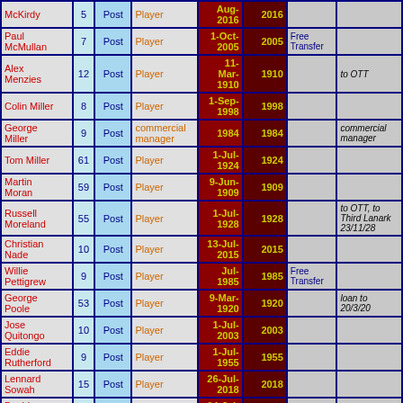| Name | # | Post/Pre | Role | Date | Year | Fee | Notes |
| --- | --- | --- | --- | --- | --- | --- | --- |
| McKirdy | 5 | Post | Player | Aug-2016 | 2016 |  |  |
| Paul McMullan | 7 | Post | Player | 1-Oct-2005 | 2005 | Free Transfer |  |
| Alex Menzies | 12 | Post | Player | 11-Mar-1910 | 1910 |  | to OTT |
| Colin Miller | 8 | Post | Player | 1-Sep-1998 | 1998 |  |  |
| George Miller | 9 | Post | commercial manager | 1984 | 1984 |  | commercial manager |
| Tom Miller | 61 | Post | Player | 1-Jul-1924 | 1924 |  |  |
| Martin Moran | 59 | Post | Player | 9-Jun-1909 | 1909 |  |  |
| Russell Moreland | 55 | Post | Player | 1-Jul-1928 | 1928 |  | to OTT, to Third Lanark 23/11/28 |
| Christian Nade | 10 | Post | Player | 13-Jul-2015 | 2015 |  |  |
| Willie Pettigrew | 9 | Post | Player | Jul-1985 | 1985 | Free Transfer |  |
| George Poole | 53 | Post | Player | 9-Mar-1920 | 1920 |  | loan to 20/3/20 |
| Jose Quitongo | 10 | Post | Player | 1-Jul-2003 | 2003 |  |  |
| Eddie Rutherford | 9 | Post | Player | 1-Jul-1955 | 1955 |  |  |
| Lennard Sowah | 15 | Post | Player | 26-Jul-2018 | 2018 |  |  |
| David Templeton | 7 | Post | Player | 24-Jul-2017 | 2017 |  |  |
| David Templeton | 10 | Post | Player | 31-Jan-2020 | 2020 |  |  |